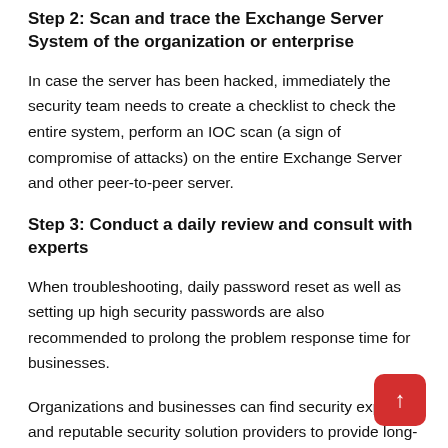Step 2: Scan and trace the Exchange Server System of the organization or enterprise
In case the server has been hacked, immediately the security team needs to create a checklist to check the entire system, perform an IOC scan (a sign of compromise of attacks) on the entire Exchange Server and other peer-to-peer server.
Step 3: Conduct a daily review and consult with experts
When troubleshooting, daily password reset as well as setting up high security passwords are also recommended to prolong the problem response time for businesses.
Organizations and businesses can find security experts and reputable security solution providers to provide long-